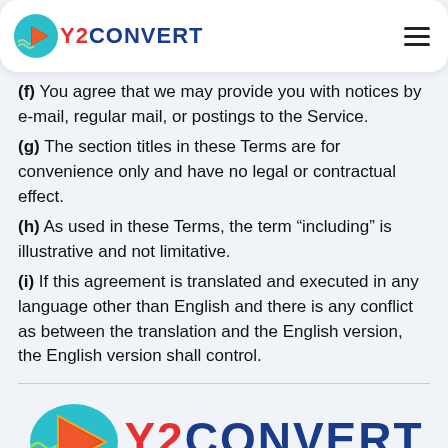Y2CONVERT (navigation header)
written consent, but may be assigned or transferred by us without restriction.
(f) You agree that we may provide you with notices by e-mail, regular mail, or postings to the Service.
(g) The section titles in these Terms are for convenience only and have no legal or contractual effect.
(h) As used in these Terms, the term “including” is illustrative and not limitative.
(i) If this agreement is translated and executed in any language other than English and there is any conflict as between the translation and the English version, the English version shall control.
[Figure (logo): Y2CONVERT logo large with icon and text]